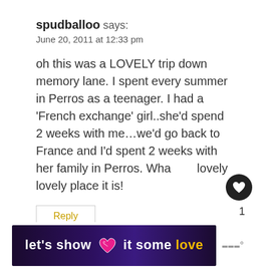spudballoo says:
June 20, 2011 at 12:33 pm
oh this was a LOVELY trip down memory lane. I spent every summer in Perros as a teenager. I had a ‘French exchange’ girl..she’d spend 2 weeks with me…we’d go back to France and I’d spent 2 weeks with her family in Perros. What lovely lovely place it is!
Reply
[Figure (infographic): Ad banner with dark purple gradient background reading 'let’s show it some love' with a pink heart icon, yellow 'love' text, and a logo on the right]